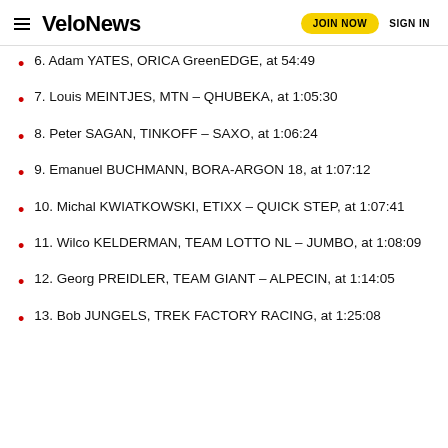VeloNews | JOIN NOW | SIGN IN
6. Adam YATES, ORICA GreenEDGE, at 54:49
7. Louis MEINTJES, MTN – QHUBEKA, at 1:05:30
8. Peter SAGAN, TINKOFF – SAXO, at 1:06:24
9. Emanuel BUCHMANN, BORA-ARGON 18, at 1:07:12
10. Michal KWIATKOWSKI, ETIXX – QUICK STEP, at 1:07:41
11. Wilco KELDERMAN, TEAM LOTTO NL – JUMBO, at 1:08:09
12. Georg PREIDLER, TEAM GIANT – ALPECIN, at 1:14:05
13. Bob JUNGELS, TREK FACTORY RACING, at 1:25:08